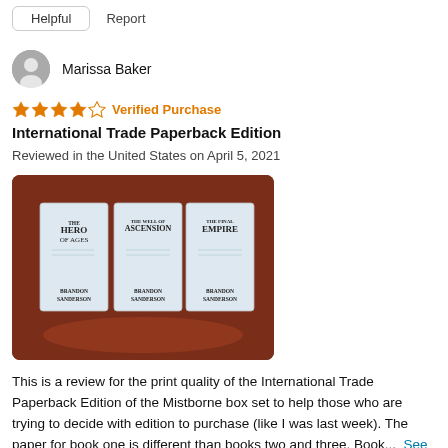Helpful   Report
Marissa Baker
★★★★☆ Verified Purchase
International Trade Paperback Edition
Reviewed in the United States on April 5, 2021
[Figure (photo): Photo of three Brandon Sanderson Mistborne paperback books (The Hero of Ages, The Well of Ascension, The Final Empire) standing upright on a wooden surface.]
This is a review for the print quality of the International Trade Paperback Edition of the Mistborne box set to help those who are trying to decide with edition to purchase (like I was last week). The paper for book one is different than books two and three. Book...  See more